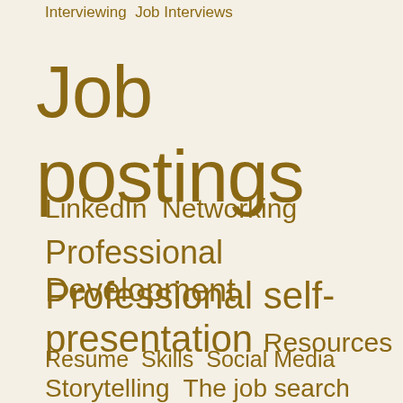Interviewing Job Interviews
Job postings
LinkedIn Networking
Professional Development
Professional self-presentation Resources
Resume Skills Social Media
Storytelling The job search